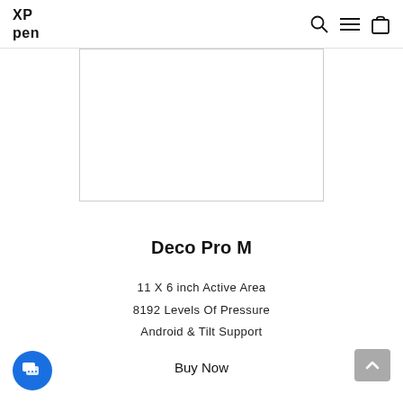XP pen
[Figure (photo): Product image area showing XP-Pen Deco Pro M drawing tablet, white background with gray border rectangle]
Deco Pro M
11 X 6 inch Active Area
8192 Levels Of Pressure
Android & Tilt Support
Buy Now